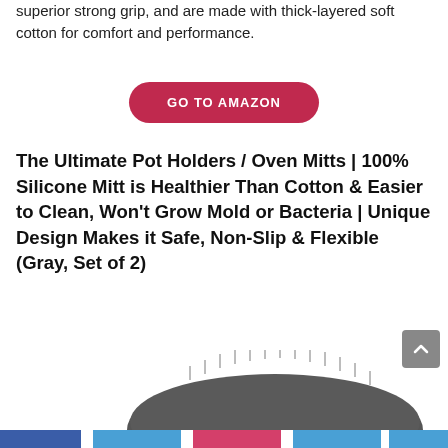superior strong grip, and are made with thick-layered soft cotton for comfort and performance.
[Figure (other): Red pill-shaped button with white bold text reading GO TO AMAZON]
The Ultimate Pot Holders / Oven Mitts | 100% Silicone Mitt is Healthier Than Cotton & Easier to Clean, Won't Grow Mold or Bacteria | Unique Design Makes it Safe, Non-Slip & Flexible (Gray, Set of 2)
[Figure (photo): Gray silicone oven mitt/pot holder with textured spiky surface shown partially, with a green circular badge showing -47% discount]